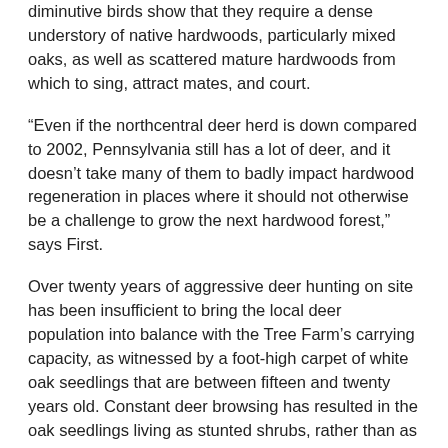diminutive birds show that they require a dense understory of native hardwoods, particularly mixed oaks, as well as scattered mature hardwoods from which to sing, attract mates, and court.
“Even if the northcentral deer herd is down compared to 2002, Pennsylvania still has a lot of deer, and it doesn’t take many of them to badly impact hardwood regeneration in places where it should not otherwise be a challenge to grow the next hardwood forest,” says First.
Over twenty years of aggressive deer hunting on site has been insufficient to bring the local deer population into balance with the Tree Farm’s carrying capacity, as witnessed by a foot-high carpet of white oak seedlings that are between fifteen and twenty years old. Constant deer browsing has resulted in the oak seedlings living as stunted shrubs, rather than as the towering trees they are designed to be.
“Imagine you are a golden winged warbler, and your powerful spirit to survive and breed just flew your tiny little body all the way from Costa Rica to northcentral Pennsylvania, through terrible storms and freezing...